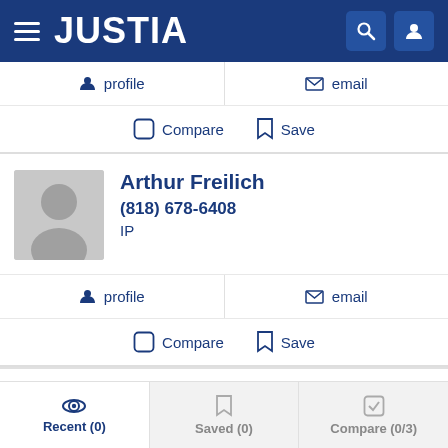JUSTIA
profile | email
Compare  Save
Arthur Freilich
(818) 678-6408
IP
profile | email
Compare  Save
John David Barrett
Recent (0)  Saved (0)  Compare (0/3)